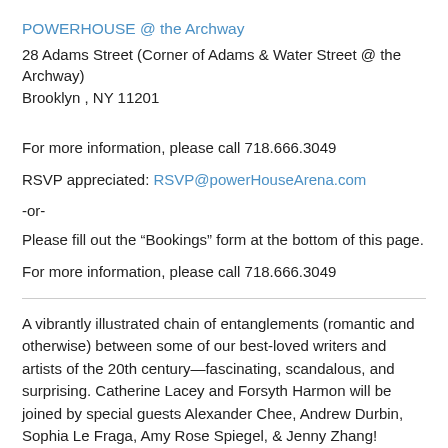POWERHOUSE @ the Archway
28 Adams Street (Corner of Adams & Water Street @ the Archway)
Brooklyn , NY 11201
For more information, please call 718.666.3049
RSVP appreciated: RSVP@powerHouseArena.com
-or-
Please fill out the “Bookings” form at the bottom of this page.
For more information, please call 718.666.3049
A vibrantly illustrated chain of entanglements (romantic and otherwise) between some of our best-loved writers and artists of the 20th century—fascinating, scandalous, and surprising. Catherine Lacey and Forsyth Harmon will be joined by special guests Alexander Chee, Andrew Durbin, Sophia Le Fraga, Amy Rose Spiegel, & Jenny Zhang!